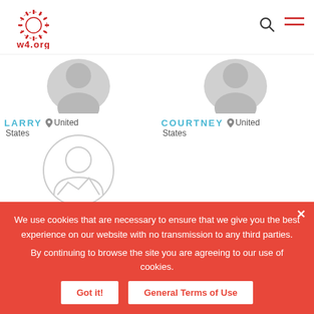[Figure (logo): W4.org logo with red starburst/sun icon and red text 'w4.org']
[Figure (illustration): User profile avatar placeholder for LARRY - grey silhouette icon]
LARRY  United States
[Figure (illustration): User profile avatar placeholder for COURTNEY - grey silhouette icon]
COURTNEY  United States
[Figure (illustration): Anonymous user profile icon - circular outline with person silhouette]
ANONYMOUS
We use cookies that are necessary to ensure that we give you the best experience on our website with no transmission to any third parties.
By continuing to browse the site you are agreeing to our use of cookies.